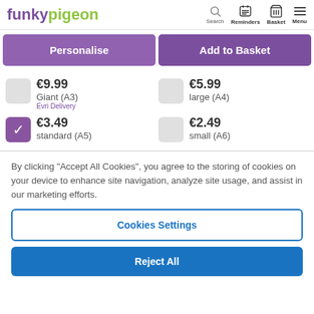funkypigeon — Search, Reminders, Basket, Menu
Personalise | Add to Basket
€9.99 Giant (A3) Evri Delivery | €5.99 large (A4) | €3.49 standard (A5) [selected] | €2.49 small (A6)
By clicking "Accept All Cookies", you agree to the storing of cookies on your device to enhance site navigation, analyze site usage, and assist in our marketing efforts.
Cookies Settings
Reject All